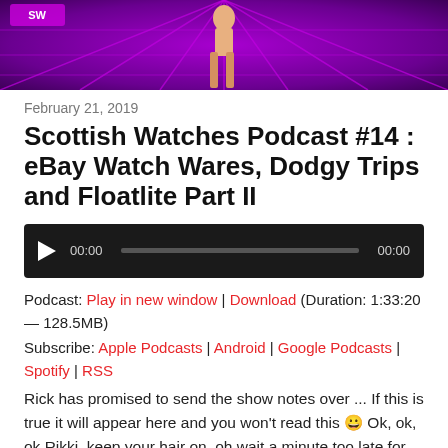[Figure (photo): Purple neon grid banner with a dancing/standing figure silhouette in the center, dark purple and magenta tones]
February 21, 2019
Scottish Watches Podcast #14 : eBay Watch Wares, Dodgy Trips and Floatlite Part II
[Figure (other): Audio player with play button, time 00:00, progress bar, and end time 00:00 on dark background]
Podcast: Play in new window | Download (Duration: 1:33:20 — 128.5MB)
Subscribe: Apple Podcasts | Android | Google Podcasts | Spotify | RSS
Rick has promised to send the show notes over ... If this is true it will appear here and you won't read this 😀 Ok, ok, ok Rikki, keep your hair on, oh wait a minute too late for that! In this episode I win the